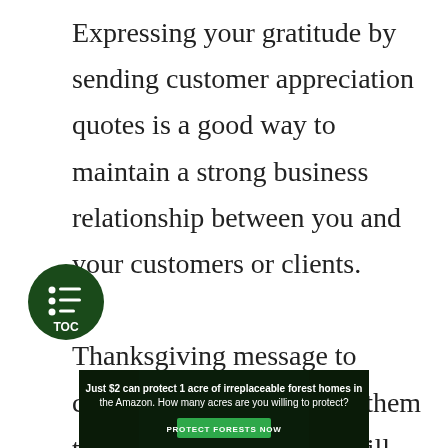Expressing your gratitude by sending customer appreciation quotes is a good way to maintain a strong business relationship between you and your customers or clients.

Thanksgiving message to customers will encourage them to support you the more will help your business grow to its fullest potential. Now that you know, try and
[Figure (infographic): Dark green circular TOC (Table of Contents) button with list icon and 'TOC' label]
[Figure (infographic): Advertisement banner with dark forest background. Text reads: 'Just $2 can protect 1 acre of irreplaceable forest homes in the Amazon. How many acres are you willing to protect?' with a green 'PROTECT FORESTS NOW' button.]